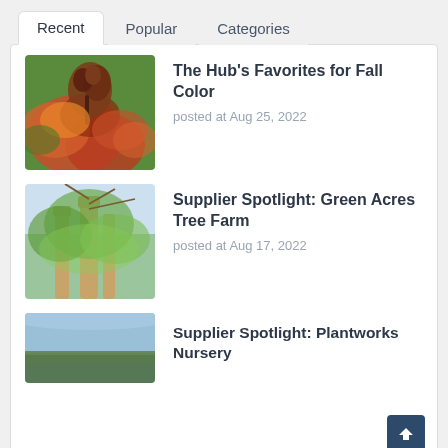Recent  Popular  Categories
The Hub's Favorites for Fall Color
posted at Aug 25, 2022
[Figure (photo): Close-up photo of autumn leaves and dried seed pods in red, brown and green tones]
Supplier Spotlight: Green Acres Tree Farm
posted at Aug 17, 2022
[Figure (photo): Upward view of birch tree trunks with leafy green canopy against sky]
Supplier Spotlight: Plantworks Nursery
[Figure (photo): Aerial landscape view of forests and fields]